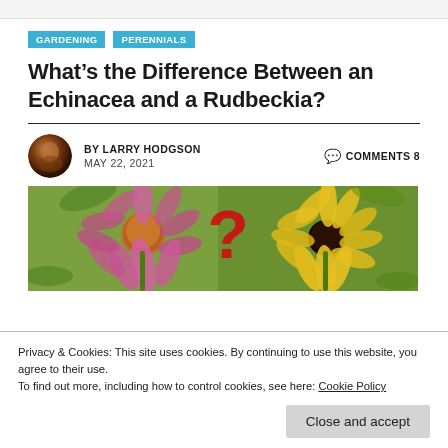GARDENING  PERENNIALS
What’s the Difference Between an Echinacea and a Rudbeckia?
BY LARRY HODGSON  MAY 22, 2021  COMMENTS 8
[Figure (photo): Side-by-side photo of a pink Echinacea flower (left) and a yellow Rudbeckia / black-eyed Susan flower (right) with a red question mark graphic between them, set against green foliage background.]
Privacy & Cookies: This site uses cookies. By continuing to use this website, you agree to their use.
To find out more, including how to control cookies, see here: Cookie Policy
Close and accept